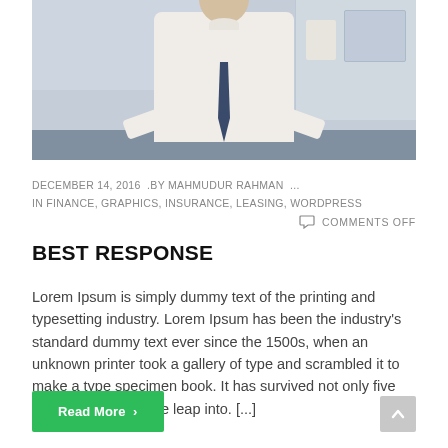[Figure (photo): A man in a white shirt and dark dotted tie standing at a desk in an office environment, cropped at chest/shoulders, with office equipment visible in the background.]
DECEMBER 14, 2016  .BY MAHMUDUR RAHMAN  ...
IN FINANCE, GRAPHICS, INSURANCE, LEASING, WORDPRESS
COMMENTS OFF
BEST RESPONSE
Lorem Ipsum is simply dummy text of the printing and typesetting industry. Lorem Ipsum has been the industry's standard dummy text ever since the 1500s, when an unknown printer took a gallery of type and scrambled it to make a type specimen book. It has survived not only five centiries, but also the leap into. [...]
Read More >